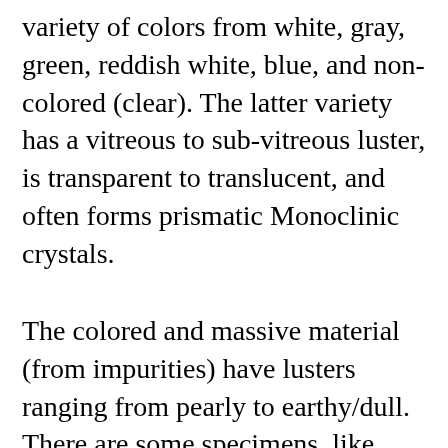variety of colors from white, gray, green, reddish white, blue, and non-colored (clear). The latter variety has a vitreous to sub-vitreous luster, is transparent to translucent, and often forms prismatic Monoclinic crystals.
The colored and massive material (from impurities) have lusters ranging from pearly to earthy/dull. There are some specimens, like mine, that appear nodular but under magnification one can observe vitreous to